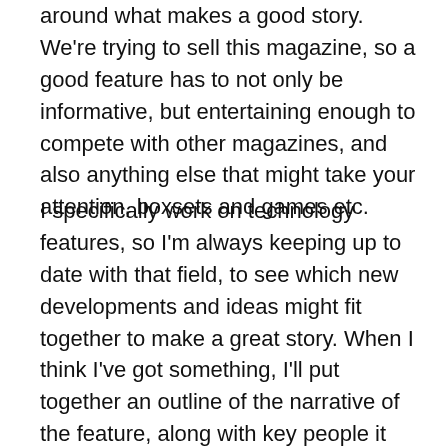around what makes a good story. We're trying to sell this magazine, so a good feature has to not only be informative, but entertaining enough to compete with other magazines, and also anything else that might take your attention, boxsets and games etc.
I specifically work on technology features, so I'm always keeping up to date with that field, to see which new developments and ideas might fit together to make a great story. When I think I've got something, I'll put together an outline of the narrative of the feature, along with key people it would be worth speaking to, and that will be the basis of a commission. I'll then find a writer for the story – editors usually have connections with regular writers – and there will probably be several rounds of edits back and forth once they've written it. We'll also work with picture editors to choose the artwork that